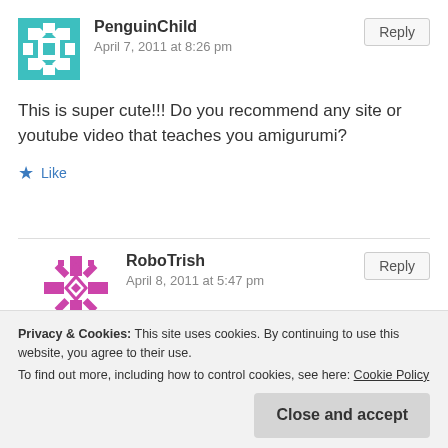[Figure (illustration): Teal and white geometric pattern avatar for PenguinChild]
PenguinChild
April 7, 2011 at 8:26 pm
Reply
This is super cute!!! Do you recommend any site or youtube video that teaches you amigurumi?
Like
[Figure (illustration): Pink/magenta geometric snowflake pattern avatar for RoboTrish]
RoboTrish
April 8, 2011 at 5:47 pm
Reply
Honestly, none come to mind… I know I watched a few
Privacy & Cookies: This site uses cookies. By continuing to use this website, you agree to their use. To find out more, including how to control cookies, see here: Cookie Policy
Close and accept